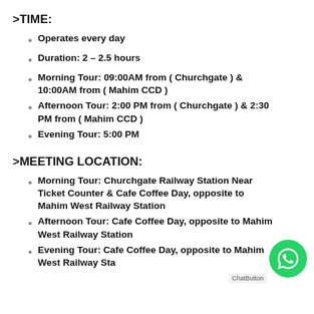>TIME:
Operates every day
Duration: 2 – 2.5 hours
Morning Tour: 09:00AM from ( Churchgate ) & 10:00AM from ( Mahim CCD )
Afternoon Tour: 2:00 PM from ( Churchgate ) & 2:30 PM from ( Mahim CCD )
Evening Tour: 5:00 PM
>MEETING LOCATION:
Morning Tour: Churchgate Railway Station Near Ticket Counter  &  Cafe Coffee Day, opposite to Mahim West Railway Station
Afternoon Tour: Cafe Coffee Day, opposite to Mahim West Railway Station
Evening Tour: Cafe Coffee Day, opposite to Mahim West Railway Station